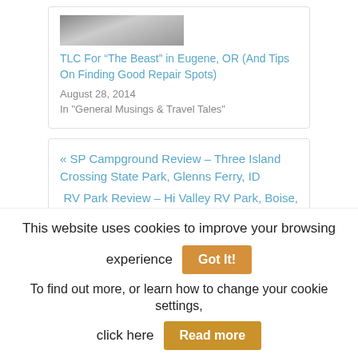[Figure (photo): Partial thumbnail image of an RV or vehicle, partially cropped at top]
TLC For “The Beast” in Eugene, OR (And Tips On Finding Good Repair Spots)
August 28, 2014
In "General Musings & Travel Tales"
« SP Campground Review – Three Island Crossing State Park, Glenns Ferry, ID
RV Park Review – Hi Valley RV Park, Boise, ID »
This website uses cookies to improve your browsing experience
Got It!
To find out more, or learn how to change your cookie settings, click here
Read more